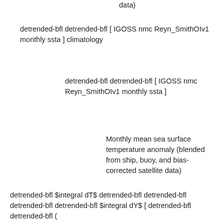data)
detrended-bfl detrended-bfl [ IGOSS nmc Reyn_SmithOIv1 monthly ssta ] climatology
detrended-bfl detrended-bfl [ IGOSS nmc Reyn_SmithOIv1 monthly ssta ]
Monthly mean sea surface temperature anomaly (blended from ship, buoy, and bias-corrected satellite data)
Averaged over T2[Nov 1981 - Oct 1982, Nov 2001 - Oct 2002]
detrended-bfl $integral dT$ detrended-bfl detrended-bfl detrended-bfl detrended-bfl $integral dY$ [ detrended-bfl detrended-bfl (